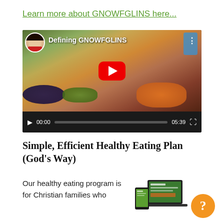Learn more about GNOWFGLINS here...
[Figure (screenshot): YouTube video player showing 'Defining GNOWFGLINS' video with a farmers market background featuring fruits and produce. Video is paused at 00:00, total duration 05:39. Red YouTube play button visible in center. Small circular avatar of a woman in the top-left of the video.]
Simple, Efficient Healthy Eating Plan (God's Way)
Our healthy eating program is for Christian families who